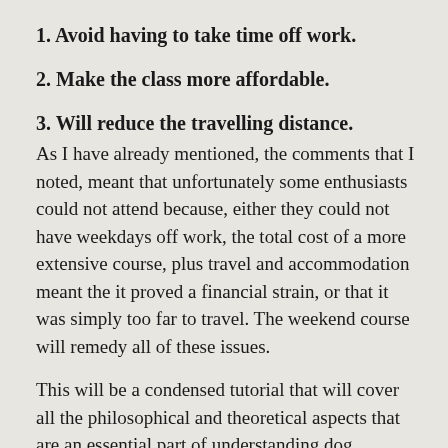1. Avoid having to take time off work.
2. Make the class more affordable.
3. Will reduce the travelling distance.
As I have already mentioned, the comments that I noted, meant that unfortunately some enthusiasts could not attend because, either they could not have weekdays off work, the total cost of a more extensive course, plus travel and accommodation meant the it proved a financial strain, or that it was simply too far to travel. The weekend course will remedy all of these issues.
This will be a condensed tutorial that will cover all the philosophical and theoretical aspects that are an essential part of understanding dog behaviour, and more importantly, how to influence negative